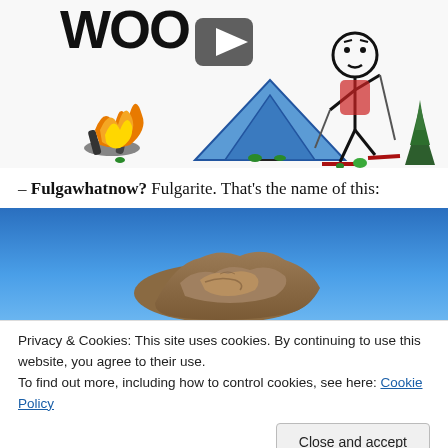[Figure (illustration): Child's drawing / illustration of a camping scene: a campfire with orange and yellow flames, logs, a blue tent, a stick figure character, pine trees, and the word 'WOO' partially visible at top. A video play button overlay is present.]
– Fulgawhatnow? Fulgarite. That's the name of this:
[Figure (photo): Photograph of a geological formation (fulgarite) against a clear blue sky — a rough sandy/rocky mass shape.]
Privacy & Cookies: This site uses cookies. By continuing to use this website, you agree to their use.
To find out more, including how to control cookies, see here: Cookie Policy
[Figure (photo): Bottom partial photograph, sandy/desert ground with partial figures visible.]